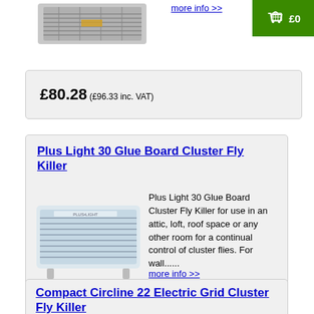[Figure (photo): Shopping basket icon with £0 label on green background]
[Figure (photo): Partial product image of a fly killer unit at top of page]
£80.28 (£96.33 inc. VAT)
Plus Light 30 Glue Board Cluster Fly Killer
[Figure (photo): Plus Light 30 Glue Board Cluster Fly Killer product image]
Plus Light 30 Glue Board Cluster Fly Killer for use in an attic, loft, roof space or any other room for a continual control of cluster flies. For wall......
more info >>
£91.58 (£109.90 inc. VAT)
Compact Circline 22 Electric Grid Cluster Fly Killer
[Figure (photo): Compact Circline 22 Electric Grid Cluster Fly Killer product image]
Compact Circline 22 Electric Grid Cluster Fly Killer for use in an